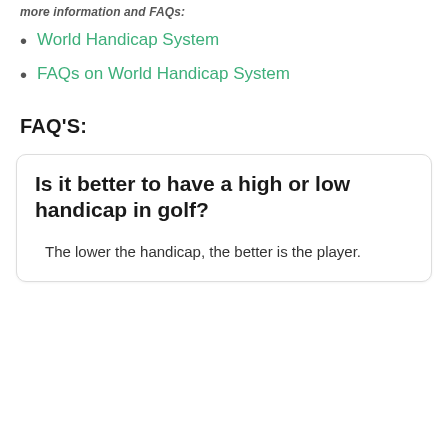more information and FAQs:
World Handicap System
FAQs on World Handicap System
FAQ'S:
Is it better to have a high or low handicap in golf?
The lower the handicap, the better is the player.